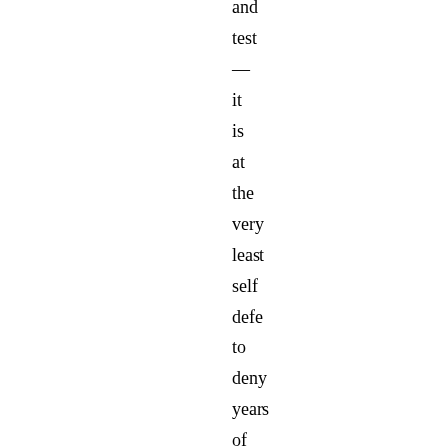and test — it is at the very least self defeating to deny years of actual employment observations and evaluations by the very